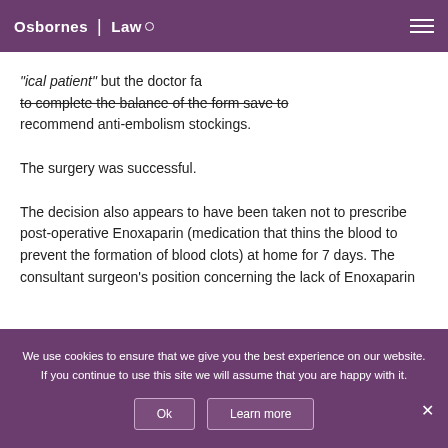Osbornes | Law
completed the same day as the surgery. Mr S was "a surgical patient" but the doctor failed to complete the balance of the form save to recommend anti-embolism stockings.
The surgery was successful.
The decision also appears to have been taken not to prescribe post-operative Enoxaparin (medication that thins the blood to prevent the formation of blood clots) at home for 7 days. The consultant surgeon's position concerning the lack of Enoxaparin was that he did not think Mr S would be in a position to
We use cookies to ensure that we give you the best experience on our website. If you continue to use this site we will assume that you are happy with it.